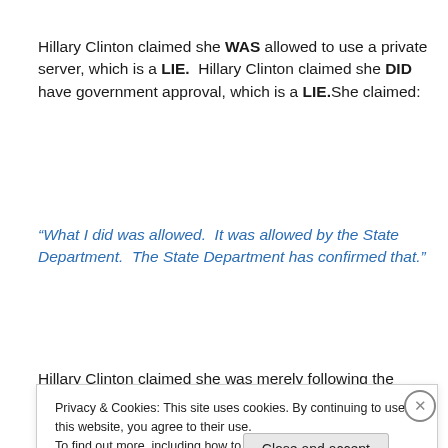Hillary Clinton claimed she WAS allowed to use a private server, which is a LIE.  Hillary Clinton claimed she DID have government approval, which is a LIE.She claimed:
“What I did was allowed.  It was allowed by the State Department.  The State Department has confirmed that.”
Hillary Clinton claimed she was merely following the
Privacy & Cookies: This site uses cookies. By continuing to use this website, you agree to their use.
To find out more, including how to control cookies, see here: Cookie Policy